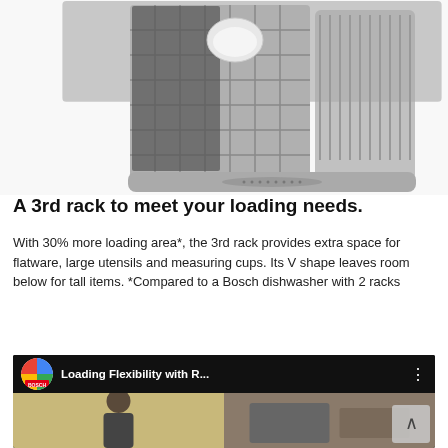[Figure (photo): Bosch dishwasher 3rd rack with flatware, utensils, and cutlery arranged in the rack, silver/steel colored]
A 3rd rack to meet your loading needs.
With 30% more loading area*, the 3rd rack provides extra space for flatware, large utensils and measuring cups. Its V shape leaves room below for tall items. *Compared to a Bosch dishwasher with 2 racks
[Figure (screenshot): YouTube video thumbnail showing 'Loading Flexibility with R...' by Bosch, with video content showing a person and kitchen scene]